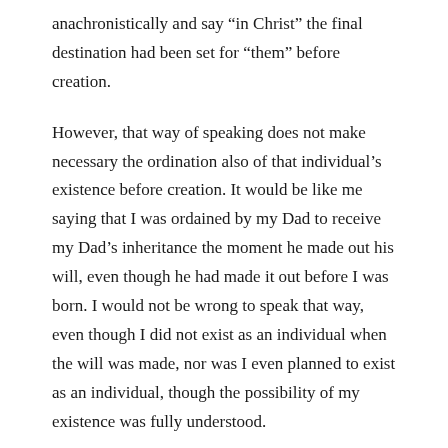anachronistically and say “in Christ” the final destination had been set for “them” before creation.
However, that way of speaking does not make necessary the ordination also of that individual’s existence before creation. It would be like me saying that I was ordained by my Dad to receive my Dad’s inheritance the moment he made out his will, even though he had made it out before I was born. I would not be wrong to speak that way, even though I did not exist as an individual when the will was made, nor was I even planned to exist as an individual, though the possibility of my existence was fully understood.